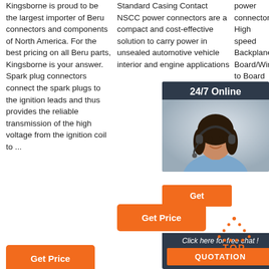Kingsborne is proud to be the largest importer of Beru connectors and components of North America. For the best pricing on all Beru parts, Kingsborne is your answer. Spark plug connectors connect the spark plugs to the ignition leads and thus provides the reliable transmission of the high voltage from the ignition coil to ...
Standard Casing Contact NSCC power connectors are a compact and cost-effective solution to carry power in unsealed automotive vehicle interior and engine applications
power connectors, High speed Backplane, Board/Wire to Board Connectors, Connectors and more.
[Figure (infographic): 24/7 Online chat advertisement box with woman wearing headset, Get button, Click here for free chat!, QUOTATION button]
[Figure (other): TOP back-to-top icon with orange dotted triangle and TOP text in orange]
Get Price (button, column 2)
Get Price (button, column 1)